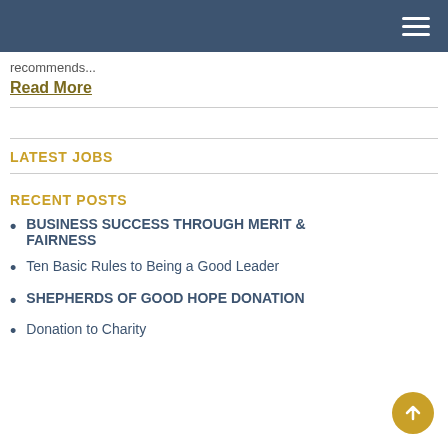Navigation header bar with hamburger menu
recommends...
Read More
LATEST JOBS
RECENT POSTS
BUSINESS SUCCESS THROUGH MERIT & FAIRNESS
Ten Basic Rules to Being a Good Leader
SHEPHERDS OF GOOD HOPE DONATION
Donation to Charity